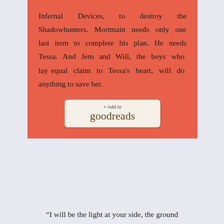Infernal Devices, to destroy the Shadowhunters. Mortmain needs only one last item to complete his plan. He needs Tessa. And Jem and Will, the boys who lay equal claim to Tessa's heart, will do anything to save her.
[Figure (logo): Goodreads 'Add to' button with text '+ Add to goodreads']
“I will be the light at your side, the ground